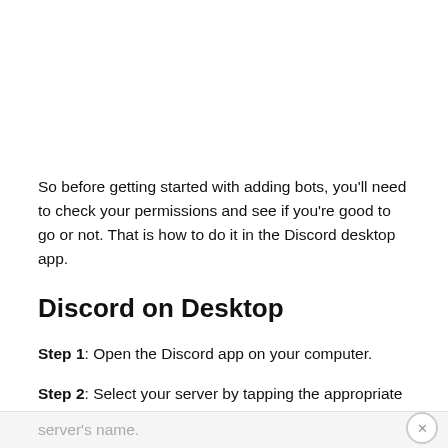So before getting started with adding bots, you'll need to check your permissions and see if you're good to go or not. That is how to do it in the Discord desktop app.
Discord on Desktop
Step 1: Open the Discord app on your computer.
Step 2: Select your server by tapping the appropriate bubble on the left. Tap on the downward arrow next to the server's name.